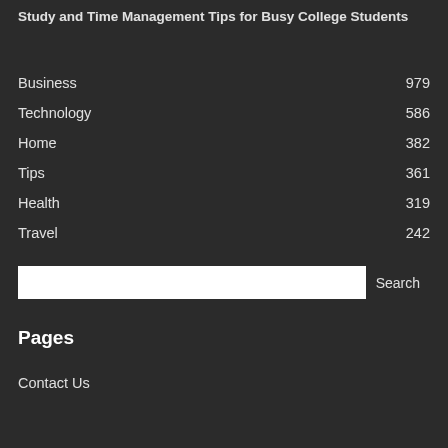Study and Time Management Tips for Busy College Students
Business 979
Technology 586
Home 382
Tips 361
Health 319
Travel 242
Search
Pages
Contact Us